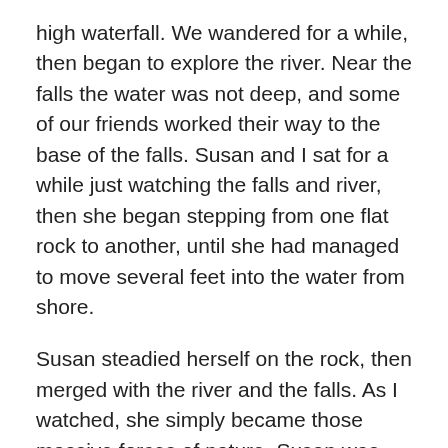high waterfall. We wandered for a while, then began to explore the river. Near the falls the water was not deep, and some of our friends worked their way to the base of the falls. Susan and I sat for a while just watching the falls and river, then she began stepping from one flat rock to another, until she had managed to move several feet into the water from shore.
Susan steadied herself on the rock, then merged with the river and the falls. As I watched, she simply became those massive forces of nature. Susan was both the woman standing on the rock, and the river. That was a profound teaching moment for me. I have always known that nature invites us to join with her. I have always known such joining to be a deep and inexhaustible well of joy and healing energy. That day, I learned from Susan one may merge one's entire being with natural forces, and in so doing, be inexorably